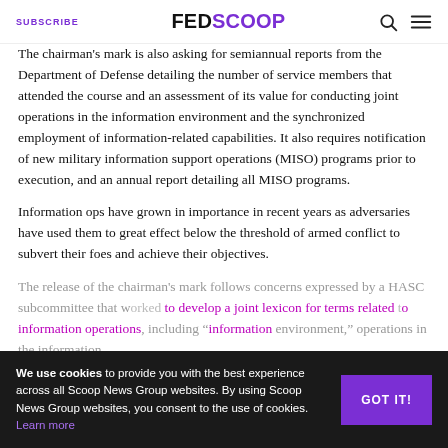SUBSCRIBE | FEDSCOOP
The chairman's mark is also asking for semiannual reports from the Department of Defense detailing the number of service members that attended the course and an assessment of its value for conducting joint operations in the information environment and the synchronized employment of information-related capabilities. It also requires notification of new military information support operations (MISO) programs prior to execution, and an annual report detailing all MISO programs.
Information ops have grown in importance in recent years as adversaries have used them to great effect below the threshold of armed conflict to subvert their foes and achieve their objectives.
The release of the chairman's mark follows concerns expressed by a HASC subcommittee that worked to develop a joint lexicon for terms related to information operations, including "information environment," operations in the information environment, and "information-related capabilities."
We use cookies to provide you with the best experience across all Scoop News Group websites. By using Scoop News Group websites, you consent to the use of cookies. Learn more